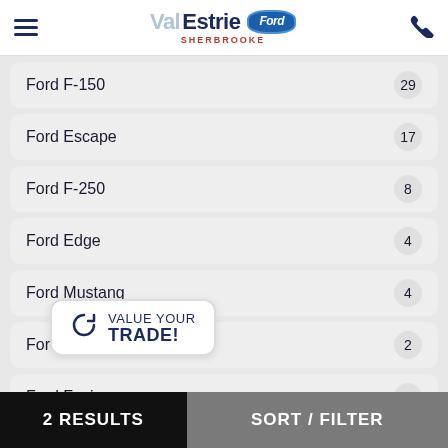ValEstrie Ford Sherbrooke
Ford F-150  29
Ford Escape  17
Ford F-250  8
Ford Edge  4
Ford Mustang  4
Ford Explorer  2
Ford Fusion  2
F[obscured]  1
F[obscured]  1
[Figure (other): VALUE YOUR TRADE! popup button with refresh/trade icon]
2 RESULTS   SORT / FILTER